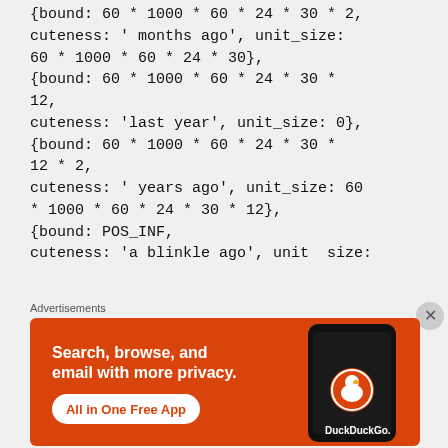{bound: 60 * 1000 * 60 * 24 * 30 * 2,
cuteness: ' months ago', unit_size: 60 * 1000 * 60 * 24 * 30},
{bound: 60 * 1000 * 60 * 24 * 30 * 12,
cuteness: 'last year', unit_size: 0},
{bound: 60 * 1000 * 60 * 24 * 30 * 12 * 2,
cuteness: ' years ago', unit_size: 60 * 1000 * 60 * 24 * 30 * 12},
{bound: POS_INF,
cuteness: 'a blinkle ago', unit  size:
Advertisements
[Figure (infographic): DuckDuckGo advertisement: orange background with phone graphic and text 'Search, browse, and email with more privacy. All in One Free App' with DuckDuckGo logo.]